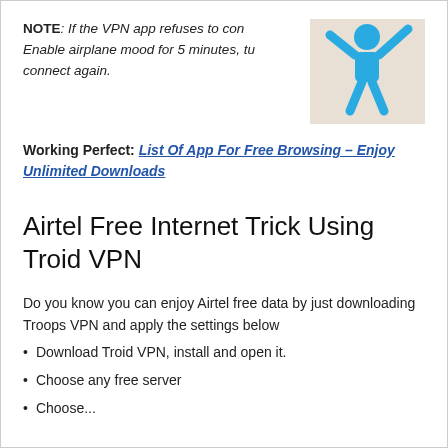NOTE: If the VPN app refuses to connect. Enable airplane mood for 5 minutes, turn off and connect again.
[Figure (illustration): Blue stick figure illustration of a person with arms raised, on a beige/tan background]
Working Perfect: List Of App For Free Browsing – Enjoy Unlimited Downloads
Airtel Free Internet Trick Using Troid VPN
Do you know you can enjoy Airtel free data by just downloading Troops VPN and apply the settings below
Download Troid VPN, install and open it.
Choose any free server
Choose...